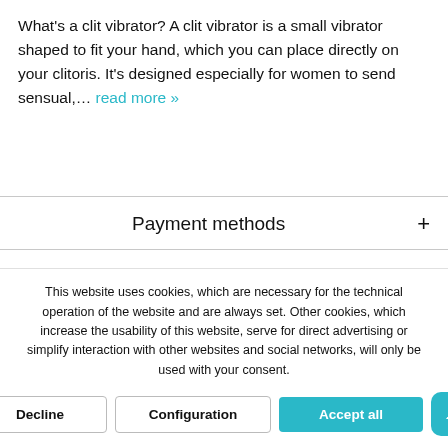What's a clit vibrator? A clit vibrator is a small vibrator shaped to fit your hand, which you can place directly on your clitoris. It's designed especially for women to send sensual,… read more »
Payment methods +
Shop service +
Information +
This website uses cookies, which are necessary for the technical operation of the website and are always set. Other cookies, which increase the usability of this website, serve for direct advertising or simplify interaction with other websites and social networks, will only be used with your consent.
Decline  Configuration  Accept all